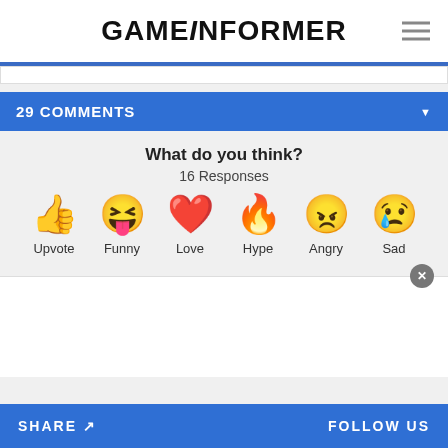GAMEINFORMER
29 COMMENTS
What do you think?
16 Responses
[Figure (infographic): Six emoji reaction buttons in a row: thumbs up (Upvote), laughing face with tongue (Funny), red heart (Love), fire (Hype), angry face (Angry), crying face (Sad)]
SHARE  FOLLOW US